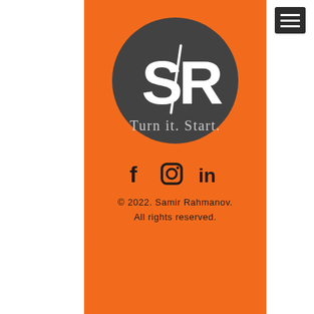[Figure (logo): SR logo with circular dark grey background, white S/R letters and 'Turn it. Start.' tagline, on orange rectangular panel with rounded bottom-left corner]
[Figure (other): Social media icons: Facebook (f), Instagram (camera), LinkedIn (in)]
© 2022. Samir Rahmanov. All rights reserved.
[Figure (other): Hamburger menu button (three horizontal lines) in dark background, top right corner]